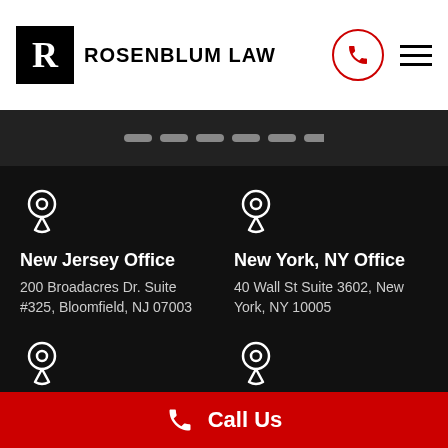ROSENBLUM LAW
New Jersey Office
200 Broadacres Dr. Suite #325, Bloomfield, NJ 07003
New York, NY Office
40 Wall St Suite 3602, New York, NY 10005
Albany, New York Office
Buffalo Office
1307 Kensington Ave Suite
Call Us